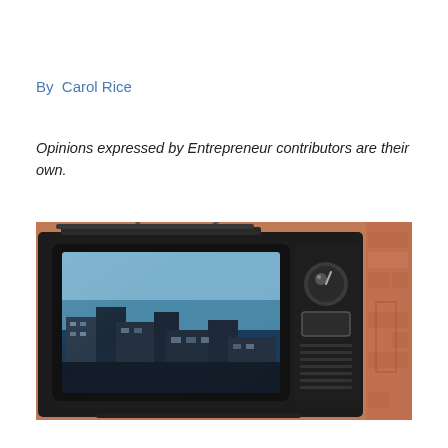By  Carol Rice
Opinions expressed by Entrepreneur contributors are their own.
[Figure (photo): Vintage CRT television set displaying an aerial view of a city with buildings and water, set against a brick wall background]